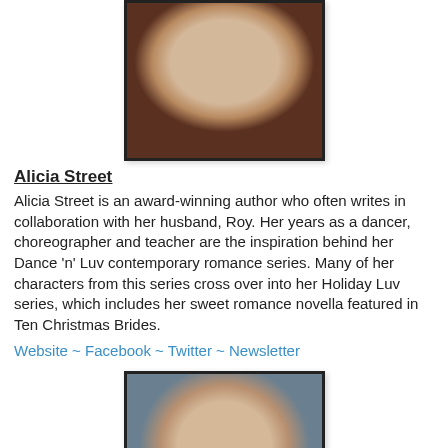[Figure (photo): Portrait photo of Alicia Street, a woman with short brown hair, wearing a dark top, smiling at camera against a light indoor background.]
Alicia Street
Alicia Street is an award-winning author who often writes in collaboration with her husband, Roy. Her years as a dancer, choreographer and teacher are the inspiration behind her Dance 'n' Luv contemporary romance series. Many of her characters from this series cross over into her Holiday Luv series, which includes her sweet romance novella featured in Ten Christmas Brides.
Website ~ Facebook ~ Twitter ~ Newsletter
[Figure (photo): Portrait photo of another woman with curly dark hair with gray highlights, smiling, wearing a light blue top, seated on a patterned sofa.]